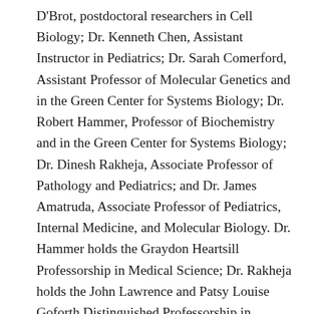D'Brot, postdoctoral researchers in Cell Biology; Dr. Kenneth Chen, Assistant Instructor in Pediatrics; Dr. Sarah Comerford, Assistant Professor of Molecular Genetics and in the Green Center for Systems Biology; Dr. Robert Hammer, Professor of Biochemistry and in the Green Center for Systems Biology; Dr. Dinesh Rakheja, Associate Professor of Pathology and Pediatrics; and Dr. James Amatruda, Associate Professor of Pediatrics, Internal Medicine, and Molecular Biology. Dr. Hammer holds the Graydon Heartsill Professorship in Medical Science; Dr. Rakheja holds the John Lawrence and Patsy Louise Goforth Distinguished Professorship in Pathology; and Dr. Amatruda holds the